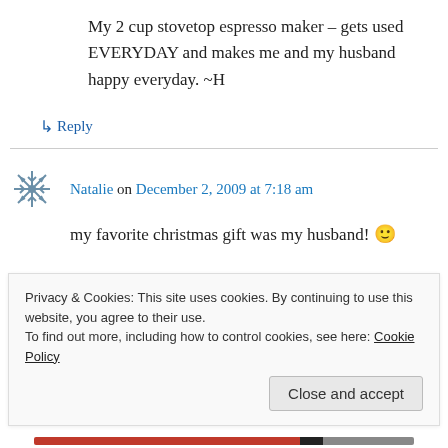My 2 cup stovetop espresso maker – gets used EVERYDAY and makes me and my husband happy everyday. ~H
↳ Reply
Natalie on December 2, 2009 at 7:18 am
my favorite christmas gift was my husband! 🙂
↳ Reply
Privacy & Cookies: This site uses cookies. By continuing to use this website, you agree to their use.
To find out more, including how to control cookies, see here: Cookie Policy
Close and accept